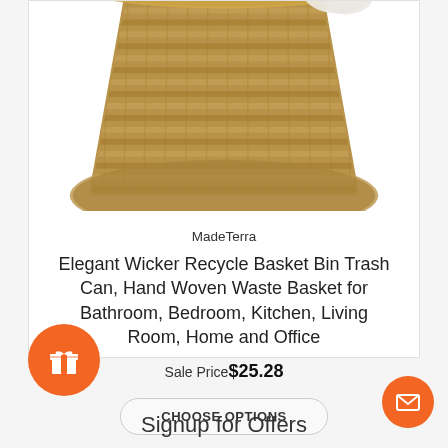[Figure (photo): Wicker seagrass basket/trash can photographed from above at an angle, showing the woven natural fiber texture. The basket is tan/brown colored and round shaped.]
MadeTerra
Elegant Wicker Recycle Basket Bin Trash Can, Hand Woven Waste Basket for Bathroom, Bedroom, Kitchen, Living Room, Home and Office
Sale Price $25.28
CHOOSE OPTIONS
Signup for Offers